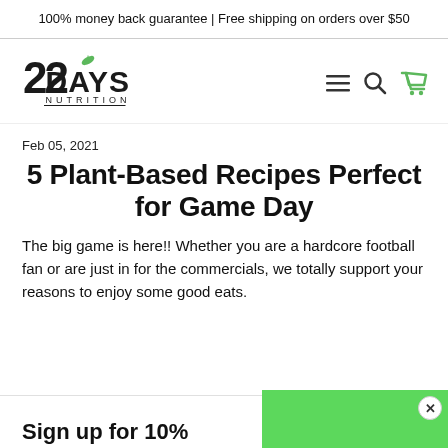100% money back guarantee | Free shipping on orders over $50
[Figure (logo): 22 Days Nutrition logo with green leaf]
Feb 05, 2021
5 Plant-Based Recipes Perfect for Game Day
The big game is here!! Whether you are a hardcore football fan or are just in for the commercials, we totally support your reasons to enjoy some good eats.
Sign up for 10%